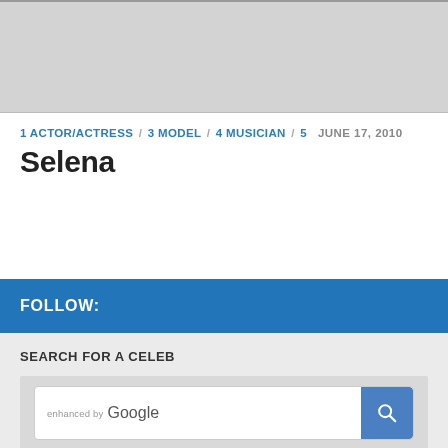[Figure (photo): Gray placeholder image area at top of page]
1 ACTOR/ACTRESS / 3 MODEL / 4 MUSICIAN / 5   JUNE 17, 2010
Selena
FOLLOW:
SEARCH FOR A CELEB
[Figure (screenshot): Google search box with 'ENHANCED BY Google' label and blue search button with magnifying glass icon]